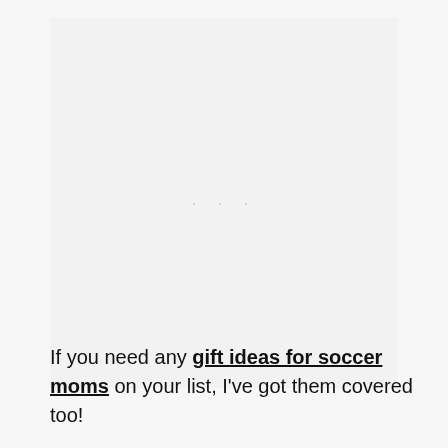[Figure (other): Advertisement placeholder area with light gray background and three small dots in the center]
If you need any gift ideas for soccer moms on your list, I've got them covered too!